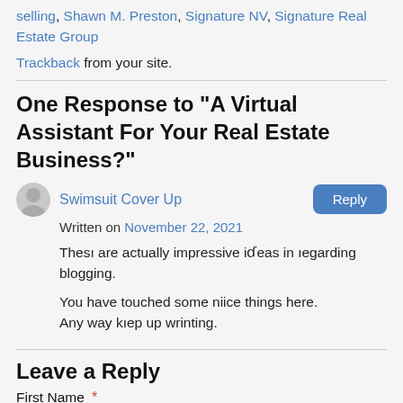selling, Shawn M. Preston, Signature NV, Signature Real Estate Group
Trackback from your site.
One Response to “A Virtual Assistant For Your Real Estate Business?”
Swimsuit Cover Up
Written on November 22, 2021
Thesı are actually impressive iɗeas in ıegarding blogging.
You have touched some niice things here.
Any way kıep up wrinting.
Leave a Reply
First Name *